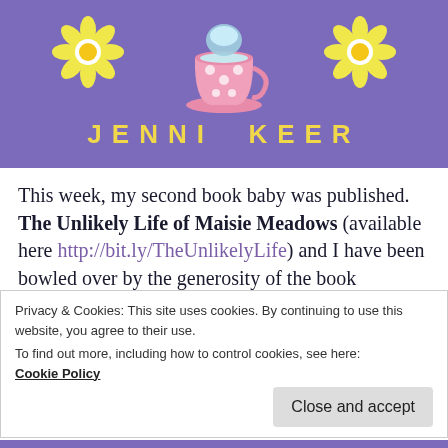[Figure (illustration): Purple banner with illustration of tea cups and daisies/flowers at the top, and the author name JENNI KEER in yellow spaced letters below]
This week, my second book baby was published. The Unlikely Life of Maisie Meadows (available here http://bit.ly/TheUnlikelyLife) and I have been bowled over by the generosity of the book bloggers who signed up for my blog tour. Social media went banonkers (bananas/bonkers) on Monday. My bottom hardly left the sofa all day.
Privacy & Cookies: This site uses cookies. By continuing to use this website, you agree to their use.
To find out more, including how to control cookies, see here: Cookie Policy
Close and accept